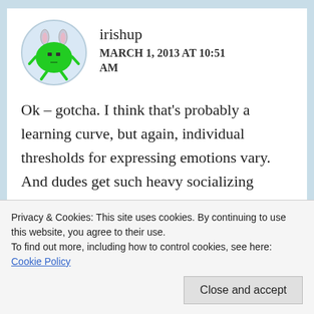[Figure (illustration): Cartoon avatar of a green frog-like character with bunny ears, arms, and legs, inside a light blue circle]
irishup
MARCH 1, 2013 AT 10:51 AM
Ok – gotcha. I think that's probably a learning curve, but again, individual thresholds for expressing emotions vary. And dudes get such heavy socializing against showing feelings in non-dudely ways, I'd hate to be a party
Privacy & Cookies: This site uses cookies. By continuing to use this website, you agree to their use.
To find out more, including how to control cookies, see here: Cookie Policy
Close and accept